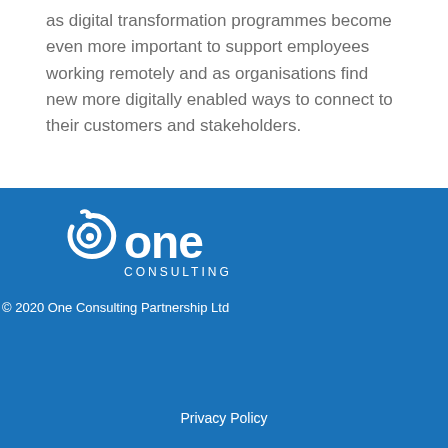as digital transformation programmes become even more important to support employees working remotely and as organisations find new more digitally enabled ways to connect to their customers and stakeholders.
[Figure (logo): One Consulting logo in white on blue background, with a spiral/swirl icon above the word 'one' in large text and 'CONSULTING' in smaller spaced capitals below.]
© 2020 One Consulting Partnership Ltd
Privacy Policy